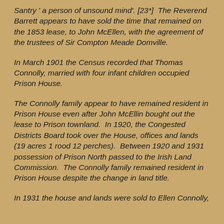Santry ' a person of unsound mind'. [23*]  The Reverend Barrett appears to have sold the time that remained on the 1853 lease, to John McEllen, with the agreement of the trustees of Sir Compton Meade Domville.
In March 1901 the Census recorded that Thomas Connolly, married with four infant children occupied Prison House.
The Connolly family appear to have remained resident in Prison House even after John McEllin bought out the lease to Prison townland.  In 1920, the Congested Districts Board took over the House, offices and lands (19 acres 1 rood 12 perches).  Between 1920 and 1931 possession of Prison North passed to the Irish Land Commission.  The Connolly family remained resident in Prison House despite the change in land title.
In 1931 the house and lands were sold to Ellen Connolly,